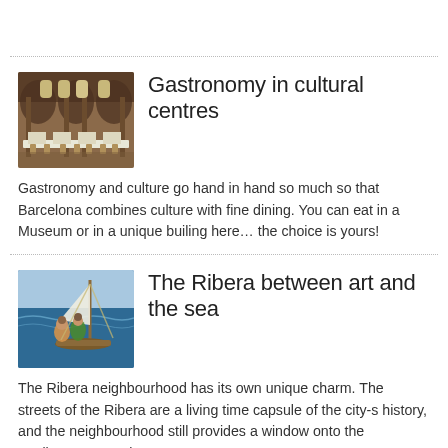[Figure (photo): Interior of a grand Gothic-style hall with arched ceilings, long dining tables with white tablecloths and chairs.]
Gastronomy in cultural centres
Gastronomy and culture go hand in hand so much so that Barcelona combines culture with fine dining. You can eat in a Museum or in a unique builing here… the choice is yours!
[Figure (photo): Two women on a sailing boat at sea, one looking out at the blue water.]
The Ribera between art and the sea
The Ribera neighbourhood has its own unique charm. The streets of the Ribera are a living time capsule of the city-s history, and the neighbourhood still provides a window onto the Mediterranean. It is